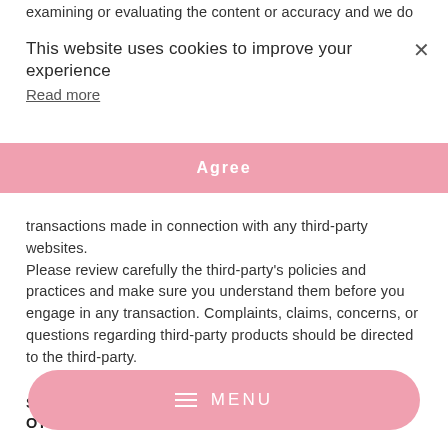examining or evaluating the content or accuracy and we do not
This website uses cookies to improve your experience
Read more
[Figure (other): Pink Agree button cookie consent banner]
transactions made in connection with any third-party websites. Please review carefully the third-party's policies and practices and make sure you understand them before you engage in any transaction. Complaints, claims, concerns, or questions regarding third-party products should be directed to the third-party.
SECTION 9 - USER COMMENTS, FEEDBACK AND OTHER SUBMISSIONS
If, at our request, you send certain specific submissions (for example contest entries) or without a request from us you send creative ideas, suggestions, proposals, plans, or other materials, whether online, by email, by postal mail, or otherwise (collectively, 'comments'), you agree that we may, at any time, without
[Figure (other): Pink rounded MENU button overlay at bottom of page]